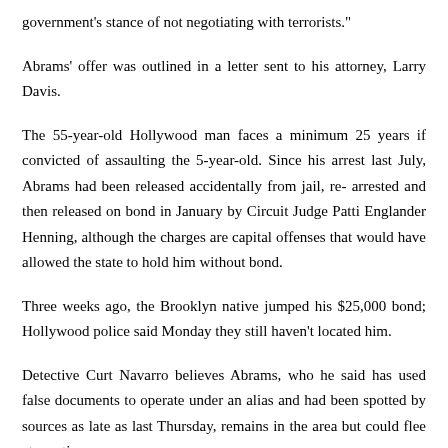government's stance of not negotiating with terrorists."
Abrams' offer was outlined in a letter sent to his attorney, Larry Davis.
The 55-year-old Hollywood man faces a minimum 25 years if convicted of assaulting the 5-year-old. Since his arrest last July, Abrams had been released accidentally from jail, re- arrested and then released on bond in January by Circuit Judge Patti Englander Henning, although the charges are capital offenses that would have allowed the state to hold him without bond.
Three weeks ago, the Brooklyn native jumped his $25,000 bond; Hollywood police said Monday they still haven't located him.
Detective Curt Navarro believes Abrams, who he said has used false documents to operate under an alias and had been spotted by sources as late as last Thursday, remains in the area but could flee at any time.
"It might be a week, two weeks," Navarro said. "The longer this goes on the more